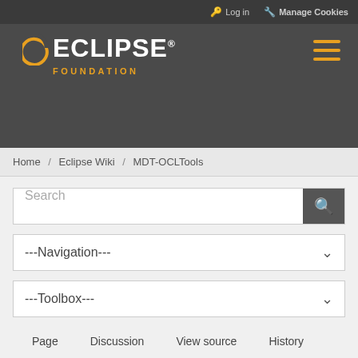Log in  Manage Cookies
[Figure (logo): Eclipse Foundation logo with orange arc and white ECLIPSE text, orange FOUNDATION text below]
Home / Eclipse Wiki / MDT-OCLTools
Search
---Navigation---
---Toolbox---
Page   Discussion   View source   History
MDT-OCLTools